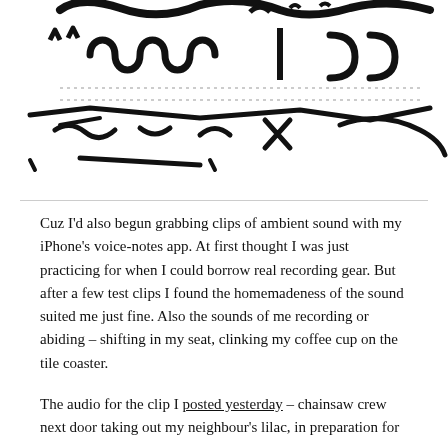[Figure (illustration): Abstract black ink/brushstroke calligraphic or gestural marks arranged in rows across the full width, resembling stylized handwriting or symbols.]
Cuz I'd also begun grabbing clips of ambient sound with my iPhone's voice-notes app. At first thought I was just practicing for when I could borrow real recording gear. But after a few test clips I found the homemadeness of the sound suited me just fine. Also the sounds of me recording or abiding – shifting in my seat, clinking my coffee cup on the tile coaster.
The audio for the clip I posted yesterday – chainsaw crew next door taking out my neighbour's lilac, in preparation for